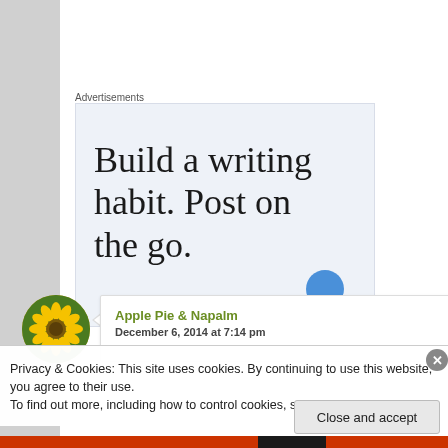Advertisements
[Figure (screenshot): Advertisement banner with text 'Build a writing habit. Post on the go.' on light blue background]
[Figure (photo): User avatar showing a yellow sunflower]
Apple Pie & Napalm
December 6, 2014 at 7:14 pm
Privacy & Cookies: This site uses cookies. By continuing to use this website, you agree to their use.
To find out more, including how to control cookies, see here: Cookie Policy
Close and accept